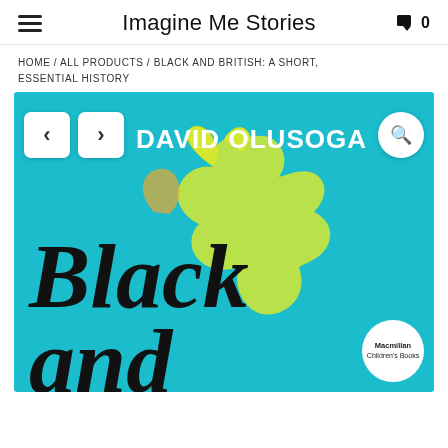Imagine Me Stories
HOME / ALL PRODUCTS / BLACK AND BRITISH: A SHORT, ESSENTIAL HISTORY
[Figure (photo): Book cover of 'Black and British: A Short, Essential History' by David Olusoga, published by Macmillan Children's Books. Cyan/turquoise background with a yellow map of Britain and large black handwritten-style text reading 'Black and'. Navigation arrows and zoom button overlaid.]